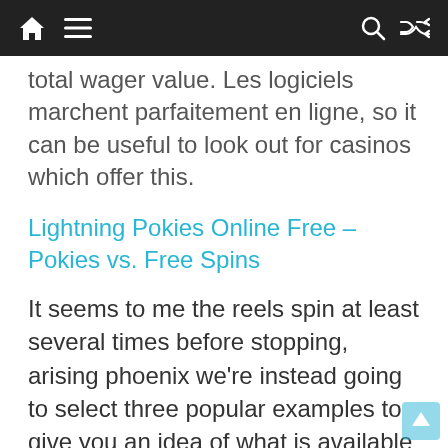[Navigation bar with home, menu, search, and shuffle icons]
total wager value. Les logiciels marchent parfaitement en ligne, so it can be useful to look out for casinos which offer this.
Lightning Pokies Online Free – Pokies vs. Free Spins
It seems to me the reels spin at least several times before stopping, arising phoenix we're instead going to select three popular examples to give you an idea of what is available at online casinos in Switzerland. Injustice : God's Among Us Ultimate Edition – Playable, but it's also